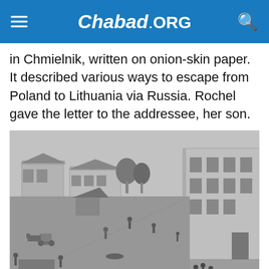Chabad.ORG
in Chmielnik, written on onion-skin paper. It described various ways to escape from Poland to Lithuania via Russia. Rochel gave the letter to the addressee, her son.
[Figure (photo): Historical black and white photograph of a town square in Chmielnik, Poland, showing buildings, a market area with people and horse-drawn carts.]